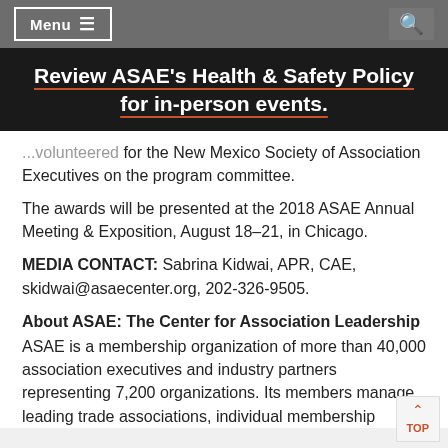Menu  [hamburger icon]   [search icon]
Review ASAE's Health & Safety Policy for in-person events.
...volunteered for the New Mexico Society of Association Executives on the program committee.
The awards will be presented at the 2018 ASAE Annual Meeting & Exposition, August 18–21, in Chicago.
MEDIA CONTACT: Sabrina Kidwai, APR, CAE, skidwai@asaecenter.org, 202-326-9505.
About ASAE: The Center for Association Leadership
ASAE is a membership organization of more than 40,000 association executives and industry partners representing 7,200 organizations. Its members manage leading trade associations, individual membership